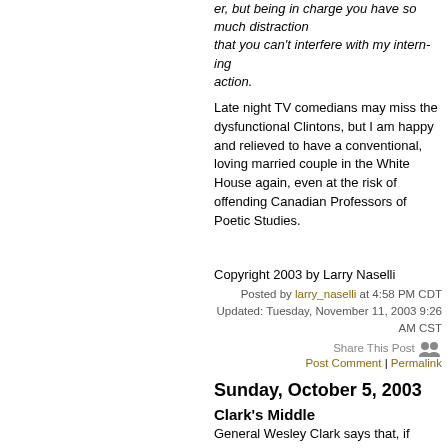er, but being in charge you have so much distraction that you can't interfere with my intern-ing action.
Late night TV comedians may miss the dysfunctional Clintons, but I am happy and relieved to have a conventional, loving married couple in the White House again, even at the risk of offending Canadian Professors of Poetic Studies.
Copyright 2003 by Larry Naselli
Posted by larry_naselli at 4:58 PM CDT
Updated: Tuesday, November 11, 2003 9:26 AM CST
Share This Post
Post Comment | Permalink
Sunday, October 5, 2003
Clark's Middle
General Wesley Clark says that, if elected President, he would nominate Supreme Court Justices who are "in the middle, like Stephen Breyer."